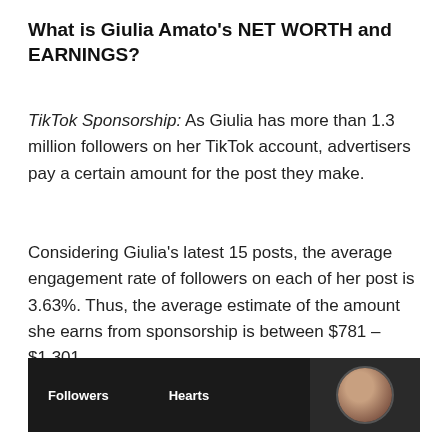What is Giulia Amato's NET WORTH and EARNINGS?
TikTok Sponsorship: As Giulia has more than 1.3 million followers on her TikTok account, advertisers pay a certain amount for the post they make.
Considering Giulia's latest 15 posts, the average engagement rate of followers on each of her post is 3.63%. Thus, the average estimate of the amount she earns from sponsorship is between $781 – $1,301.
[Figure (screenshot): Dark TikTok profile stats bar showing 'Followers' and 'Hearts' labels on dark background, with a circular profile photo of a person on the right side.]